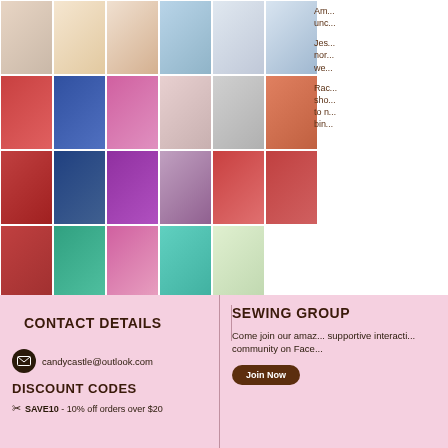[Figure (photo): Grid of photos showing babies and toddlers wearing bibs and baby clothing in various fabric prints and colors]
Am... unc...
Jes... nor... we...
Rac... sho... to n... bin...
CONTACT DETAILS
candycastle@outlook.com
DISCOUNT CODES
SAVE10 - 10% off orders over $20
SEWING GROUP
Come join our amaz... supportive interacti... community on Face...